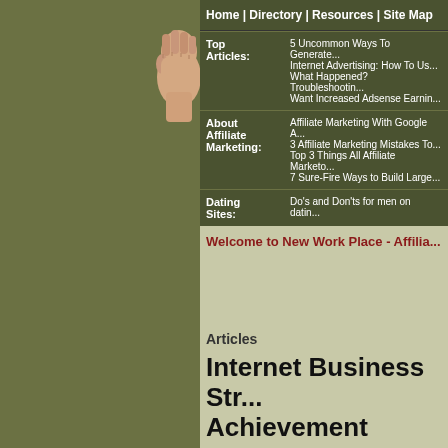[Figure (illustration): Hand/fist illustration logo in sidebar area]
Home | Directory | Resources | Site Map
| Top Articles: | 5 Uncommon Ways To Generate
Internet Advertising: How To Us...
What Happened? Troubleshootin...
Want Increased Adsense Earnin... |
| About Affiliate Marketing: | Affiliate Marketing With Google A...
3 Affiliate Marketing Mistakes To...
Top 3 Things All Affiliate Marketo...
7 Sure-Fire Ways to Build Large... |
| Dating Sites: | Do's and Don'ts for men on datin... |
Welcome to New Work Place - Affilia...
Articles
Internet Business Str... Achievement
Setting up internet advertising promotion...